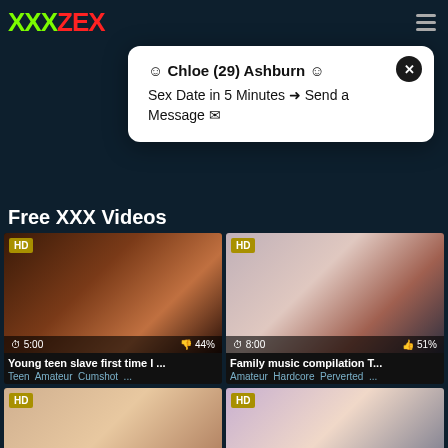XXXZEX
☺ Chloe (29) Ashburn ☺
Sex Date in 5 Minutes ➜ Send a Message ✉
Free XXX Videos
[Figure (photo): Video thumbnail 1 with HD badge, duration 5:00, rating 44%]
Young teen slave first time I ...
Teen  Amateur  Cumshot  ...
[Figure (photo): Video thumbnail 2 with HD badge, duration 8:00, rating 51%]
Family music compilation T...
Amateur  Hardcore  Perverted  ...
[Figure (photo): Video thumbnail 3 partial, HD badge]
[Figure (photo): Video thumbnail 4 partial, HD badge]